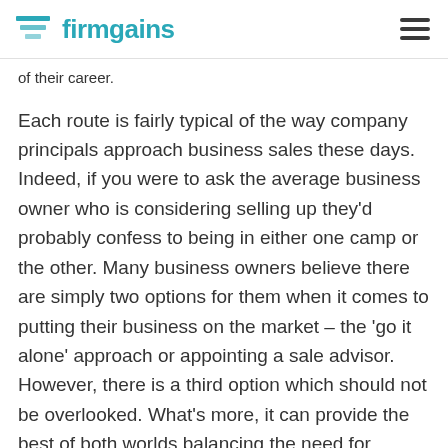firmgains
of their career.
Each route is fairly typical of the way company principals approach business sales these days. Indeed, if you were to ask the average business owner who is considering selling up they'd probably confess to being in either one camp or the other. Many business owners believe there are simply two options for them when it comes to putting their business on the market – the 'go it alone' approach or appointing a sale advisor. However, there is a third option which should not be overlooked. What's more, it can provide the best of both worlds balancing the need for expertise and entrepreneurial independence.